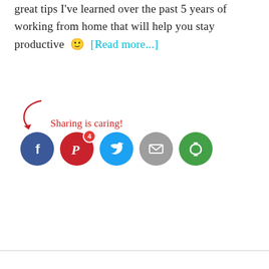great tips I've learned over the past 5 years of working from home that will help you stay productive 🙂 [Read more...]
[Figure (infographic): Sharing is caring! social share buttons: Facebook, Pinterest (with badge showing 4 shares), Twitter, Email, Print/Subscribe (green circle with loop icon). Red cursive text 'Sharing is caring!' with a red curved arrow pointing to the icons.]